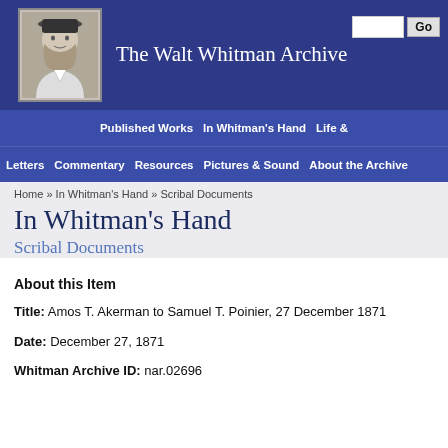[Figure (illustration): Header banner with Walt Whitman portrait on left and site title 'The Walt Whitman Archive' in white serif text on dark blue background, with a search box and Go button in upper right.]
Published Works  In Whitman's Hand  Life &  Letters  Commentary  Resources  Pictures & Sound  About the Archive
Home » In Whitman's Hand » Scribal Documents
In Whitman's Hand
Scribal Documents
About this Item
Title: Amos T. Akerman to Samuel T. Poinier, 27 December 1871
Date: December 27, 1871
Whitman Archive ID: nar.02696